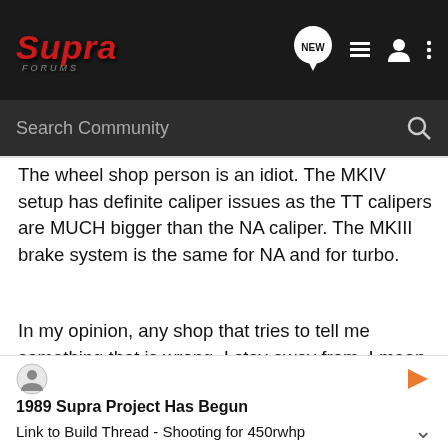Supra Forums - NEW, list, user, menu icons - Search Community
The wheel shop person is an idiot. The MKIV setup has definite caliper issues as the TT calipers are MUCH bigger than the NA caliper. The MKIII brake system is the same for NA and for turbo.
In my opinion, any shop that tries to tell me something that is wrong, I stay away from. I mean if they can't get a simple thing like wheel size right, then how are they going to end up looking on your car? There is a HUGE selection of wheels out there for the MKIII, you just might have to look a little longer and a little harder. I wouldn't go with a shop as shady as this one sounds.
1989 Supra Project Has Begun
Link to Build Thread - Shooting for 450rwhp